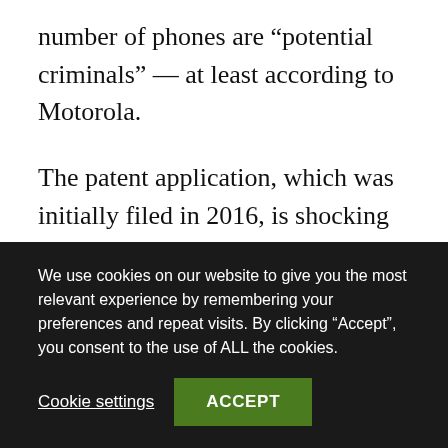number of phones are “potential criminals” — at least according to Motorola.
The patent application, which was initially filed in 2016, is shocking in its level of presumption and, frankly, creepiness.
“During operation, a server continuously receives facial recognition data for individuals along with
We use cookies on our website to give you the most relevant experience by remembering your preferences and repeat visits. By clicking “Accept”, you consent to the use of ALL the cookies.
Cookie settings
ACCEPT